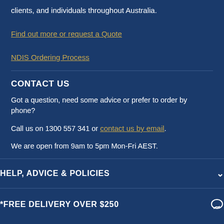clients, and individuals throughout Australia.
Find out more or request a Quote
NDIS Ordering Process
CONTACT US
Got a question, need some advice or prefer to order by phone?
Call us on 1300 557 341 or contact us by email.
We are open from 9am to 5pm Mon-Fri AEST.
HELP, ADVICE & POLICIES
*FREE DELIVERY OVER $250
Delivery is free for orders over $250 to most Metropolitan areas in